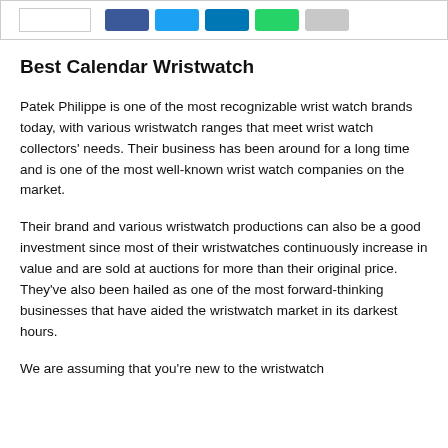Best Calendar Wristwatch
Patek Philippe is one of the most recognizable wrist watch brands today, with various wristwatch ranges that meet wrist watch collectors' needs. Their business has been around for a long time and is one of the most well-known wrist watch companies on the market.
Their brand and various wristwatch productions can also be a good investment since most of their wristwatches continuously increase in value and are sold at auctions for more than their original price. They've also been hailed as one of the most forward-thinking businesses that have aided the wristwatch market in its darkest hours.
We are assuming that you're new to the wristwatch